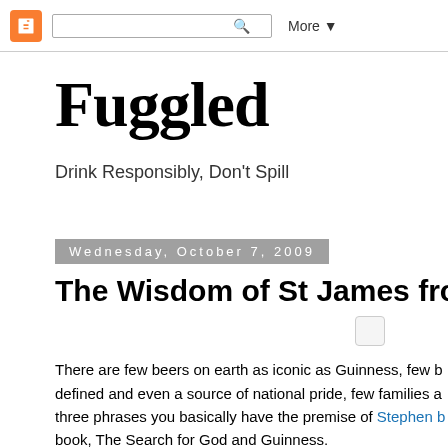Blogger navbar with search box and More button
Fuggled
Drink Responsibly, Don't Spill
Wednesday, October 7, 2009
The Wisdom of St James from the Gate
There are few beers on earth as iconic as Guinness, few b... defined and even a source of national pride, few families a... three phrases you basically have the premise of Stephen b... book, The Search for God and Guinness.